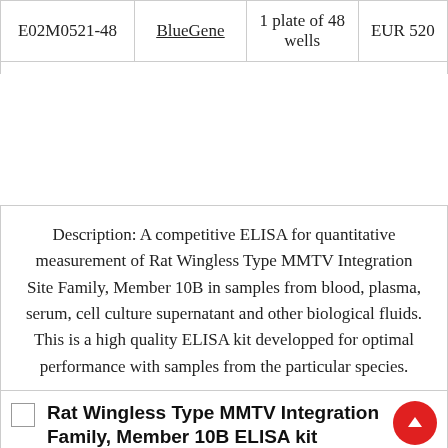|  |  |  |  |
| --- | --- | --- | --- |
| E02M0521-48 | BlueGene | 1 plate of 48 wells | EUR 520 |
Description: A competitive ELISA for quantitative measurement of Rat Wingless Type MMTV Integration Site Family, Member 10B in samples from blood, plasma, serum, cell culture supernatant and other biological fluids. This is a high quality ELISA kit developped for optimal performance with samples from the particular species.
[Figure (other): Broken image icon placeholder]
Rat Wingless Type MMTV Integration Family, Member 10B ELISA kit